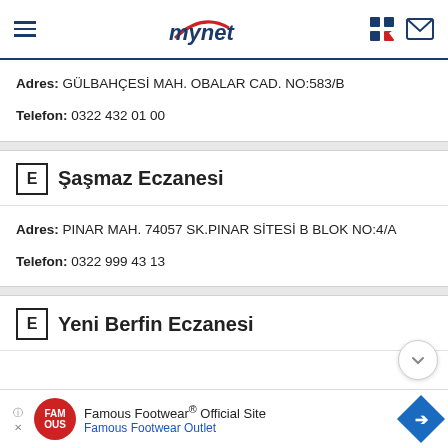mynet
Adres: GÜLBAHÇESİ MAH. OBALAR CAD. NO:583/B
Telefon: 0322 432 01 00
E Şaşmaz Eczanesi
Adres: PINAR MAH. 74057 SK.PINAR SİTESİ B BLOK NO:4/A
Telefon: 0322 999 43 13
E Yeni Berfin Eczanesi
[Figure (other): Famous Footwear advertisement banner with red circle logo, text 'Famous Footwear® Official Site / Famous Footwear Outlet' and blue diamond arrow icon]